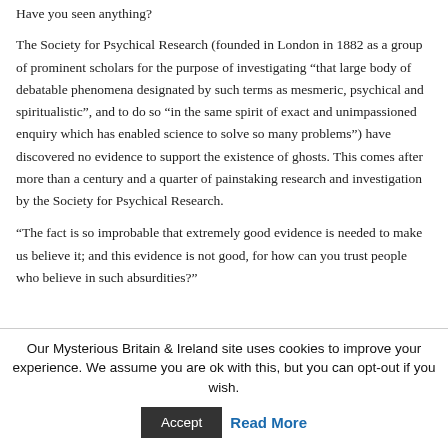Have you seen anything?
The Society for Psychical Research (founded in London in 1882 as a group of prominent scholars for the purpose of investigating “that large body of debatable phenomena designated by such terms as mesmeric, psychical and spiritualistic”, and to do so “in the same spirit of exact and unimpassioned enquiry which has enabled science to solve so many problems”) have discovered no evidence to support the existence of ghosts. This comes after more than a century and a quarter of painstaking research and investigation by the Society for Psychical Research.
“The fact is so improbable that extremely good evidence is needed to make us believe it; and this evidence is not good, for how can you trust people who believe in such absurdities?”
Our Mysterious Britain & Ireland site uses cookies to improve your experience. We assume you are ok with this, but you can opt-out if you wish.